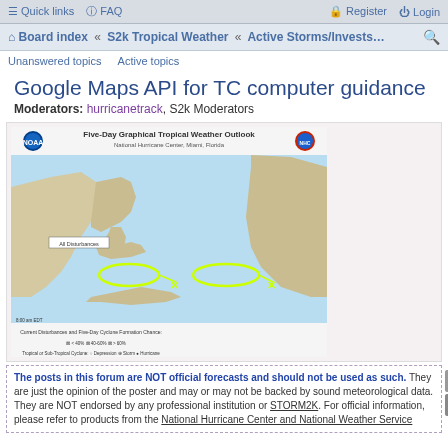≡ Quick links  ② FAQ    Register  Login
Board index « S2k Tropical Weather « Active Storms/Invests…
Unanswered topics   Active topics
Google Maps API for TC computer guidance
Moderators: hurricanetrack, S2k Moderators
[Figure (map): Five-Day Graphical Tropical Weather Outlook from the National Hurricane Center, Miami, Florida. Shows Atlantic basin with two disturbance ellipses marked in yellow with X markers indicating cyclone formation chance.]
The posts in this forum are NOT official forecasts and should not be used as such. They are just the opinion of the poster and may or may not be backed by sound meteorological data. They are NOT endorsed by any professional institution or STORM2K. For official information, please refer to products from the National Hurricane Center and National Weather Service.